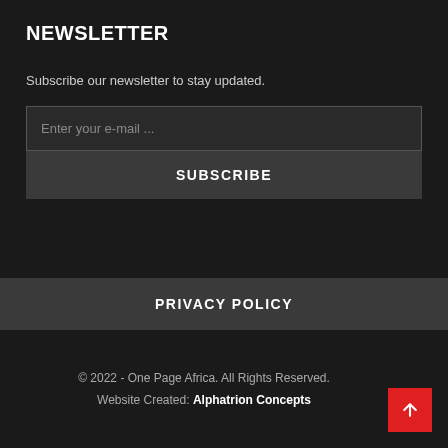NEWSLETTER
Subscribe our newsletter to stay updated.
Enter your e-mail ...
SUBSCRIBE
PRIVACY POLICY
© 2022 - One Page Africa. All Rights Reserved.
Website Created: Alphatrion Concepts